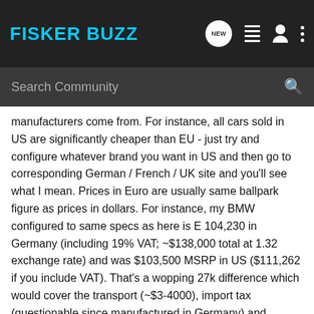FISKER BUZZ
Search Community
manufacturers come from. For instance, all cars sold in US are significantly cheaper than EU - just try and configure whatever brand you want in US and then go to corresponding German / French / UK site and you'll see what I mean. Prices in Euro are usually same ballpark figure as prices in dollars. For instance, my BMW configured to same specs as here is E 104,230 in Germany (including 19% VAT; ~$138,000 total at 1.32 exchange rate) and was $103,500 MSRP in US ($111,262 if you include VAT). That's a wopping 27k difference which would cover the transport (~$3-4000), import tax (questionable since manufactured in Germany) and registration, and still make me a nice profit if I were able to import it into EU, say Germany.... If imports were allowed and tolerated, no one would buy in Europe, and everyone will import from the cheapest market. Same rules for US, perhaps even more stringent. Read more